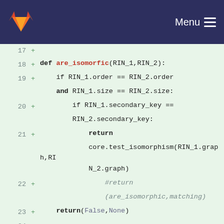Menu
[Figure (screenshot): GitLab code diff view showing Python code lines 17-30 with green background indicating added lines. Code includes def are_isomorfic and def merge_2_RINs function definitions.]